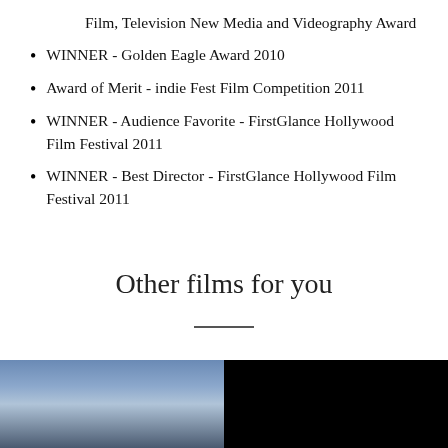Film, Television New Media and Videography Award
WINNER - Golden Eagle Award 2010
Award of Merit - indie Fest Film Competition 2011
WINNER - Audience Favorite - FirstGlance Hollywood Film Festival 2011
WINNER - Best Director - FirstGlance Hollywood Film Festival 2011
Other films for you
[Figure (photo): Two thumbnail images side by side: left shows a blue sky with clouds, right shows a black/dark image]